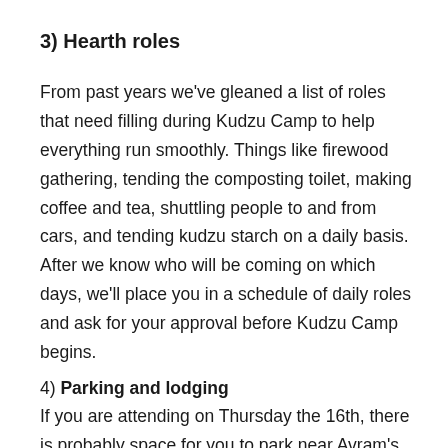3) Hearth roles
From past years we've gleaned a list of roles that need filling during Kudzu Camp to help everything run smoothly. Things like firewood gathering, tending the composting toilet, making coffee and tea, shuttling people to and from cars, and tending kudzu starch on a daily basis. After we know who will be coming on which days, we'll place you in a schedule of daily roles and ask for your approval before Kudzu Camp begins.
4) Parking and lodging
If you are attending on Thursday the 16th, there is probably space for you to park near Avram's driveway (contact zevkudzu@gmail.com for address). If you are attending Friday, Saturday or Sunday you'll need to park at Harold's Supermarket on Hwy 107. Please plan to get